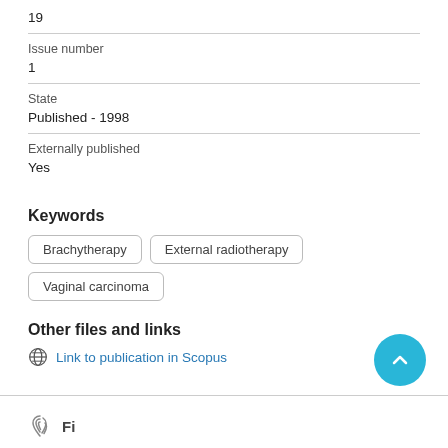19
Issue number
1
State
Published - 1998
Externally published
Yes
Keywords
Brachytherapy
External radiotherapy
Vaginal carcinoma
Other files and links
Link to publication in Scopus